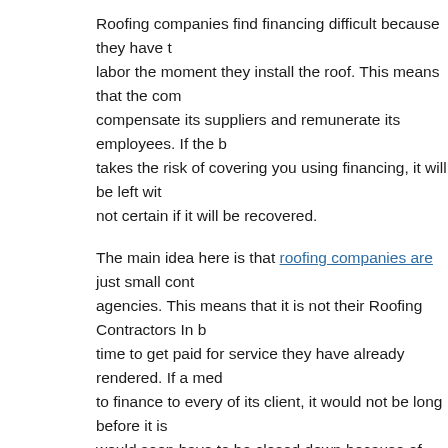Roofing companies find financing difficult because they have to pay for labor the moment they install the roof. This means that the company has to compensate its suppliers and remunerate its employees. If the business takes the risk of covering you using financing, it will be left with money not certain if it will be recovered.
The main idea here is that roofing companies are just small contracting agencies. This means that it is not their Roofing Contractors In business time to get paid for service they have already rendered. If a medical clinic to finance to every of its client, it would not be long before it is would soon have to be closed down because of bankruptcy.
More Roofing Information
Decatur GA Weather